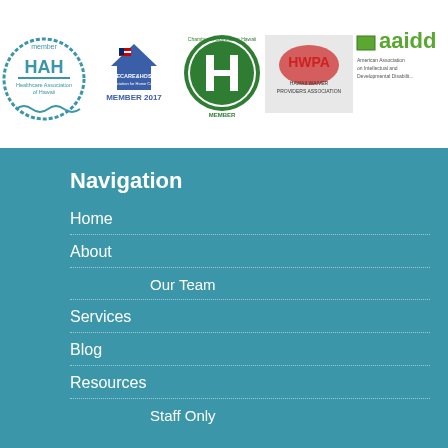[Figure (logo): Five membership/association logos in a white banner: HAH (Healthcare Association of Hawaii member), HomeCarandHospice National Association Member 2017, Chamber of Commerce Hawaii Member (green H logo), HWPA Hawaii Waiver Providers Association, and AAIDD American Association on Intellectual and Developmental Disabilities]
Navigation
Home
About
Our Team
Services
Blog
Resources
Staff Only